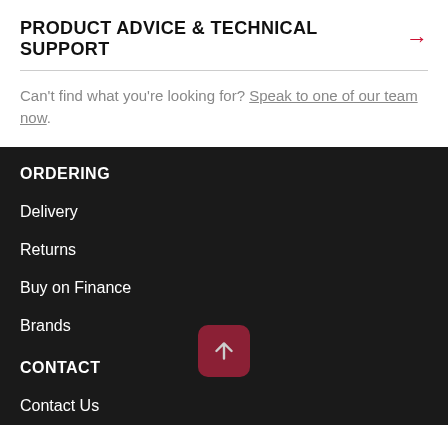PRODUCT ADVICE & TECHNICAL SUPPORT →
Can't find what you're looking for? Speak to one of our team now.
ORDERING
Delivery
Returns
Buy on Finance
Brands
CONTACT
Contact Us